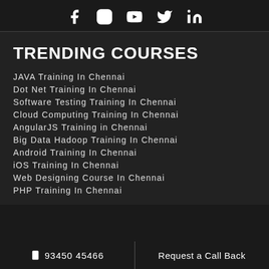[Figure (infographic): Social media icons: Facebook, Instagram, YouTube, Twitter, LinkedIn displayed in white on dark background]
TRENDING COURSES
JAVA Training In Chennai
Dot Net Training In Chennai
Software Testing Training In Chennai
Cloud Computing Training In Chennai
AngularJS Training in Chennai
Big Data Hadoop Training In Chennai
Android Training In Chennai
iOS Training In Chennai
Web Designing Course In Chennai
PHP Training In Chennai
📱 93450 45466 | Request a Call Back